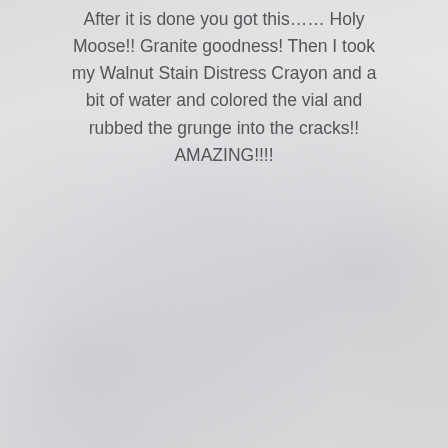After it is done you got this…… Holy Moose!! Granite goodness! Then I took my Walnut Stain Distress Crayon and a bit of water and colored the vial and rubbed the grunge into the cracks!! AMAZING!!!!